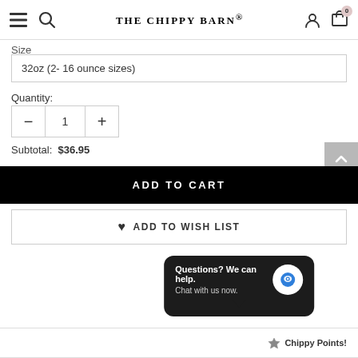THE CHIPPY BARN®
Size
32oz (2- 16 ounce sizes)
Quantity:
1
Subtotal:  $36.95
ADD TO CART
ADD TO WISH LIST
Questions? We can help. Chat with us now.
Chippy Points!